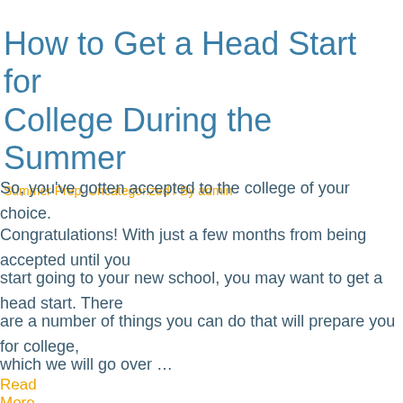How to Get a Head Start for College During the Summer
Summer Prep, Uncategorized / By admin
So, you've gotten accepted to the college of your choice.

Congratulations! With just a few months from being accepted until you start going to your new school, you may want to get a head start. There are a number of things you can do that will prepare you for college, which we will go over …
Read More »